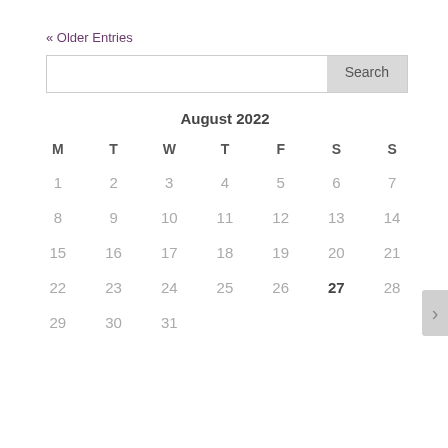« Older Entries
| M | T | W | T | F | S | S |
| --- | --- | --- | --- | --- | --- | --- |
| 1 | 2 | 3 | 4 | 5 | 6 | 7 |
| 8 | 9 | 10 | 11 | 12 | 13 | 14 |
| 15 | 16 | 17 | 18 | 19 | 20 | 21 |
| 22 | 23 | 24 | 25 | 26 | 27 | 28 |
| 29 | 30 | 31 |  |  |  |  |